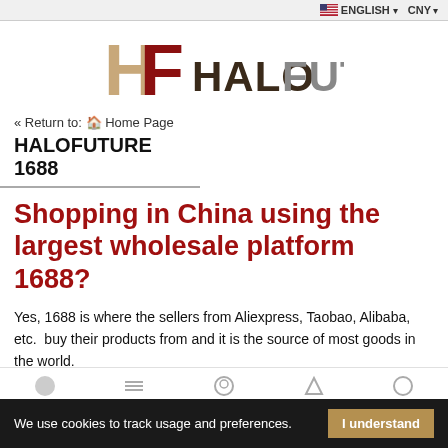ENGLISH ▾   CNY ▾
[Figure (logo): HaloFuture logo with HF monogram in dark red/tan and HALOFUTURE text]
« Return to: 🏠 Home Page
HALOFUTURE 1688
Shopping in China using the largest wholesale platform 1688?
Yes, 1688 is where the sellers from Aliexpress, Taobao, Alibaba, etc.  buy their products from and it is the source of most goods in the world.
1688 is a portal dedicated only to the Chinese market and therefore has some limitations:
We use cookies to track usage and preferences.   I understand